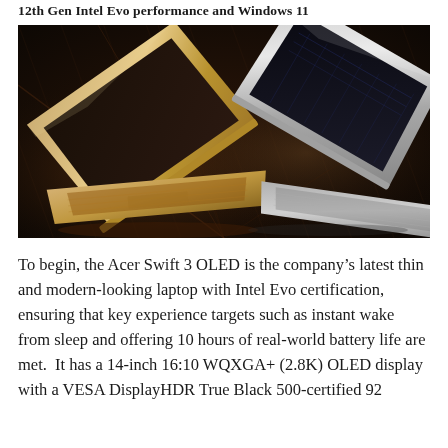12th Gen Intel Evo performance and Windows 11
[Figure (photo): Two Acer Swift 3 OLED laptops shown at angles against a dark brown/black background — one in gold/champagne color on the left and one in silver/grey on the right, both partially open, displayed in a promotional product shot style.]
To begin, the Acer Swift 3 OLED is the company's latest thin and modern-looking laptop with Intel Evo certification, ensuring that key experience targets such as instant wake from sleep and offering 10 hours of real-world battery life are met.  It has a 14-inch 16:10 WQXGA+ (2.8K) OLED display with a VESA DisplayHDR True Black 500-certified 92